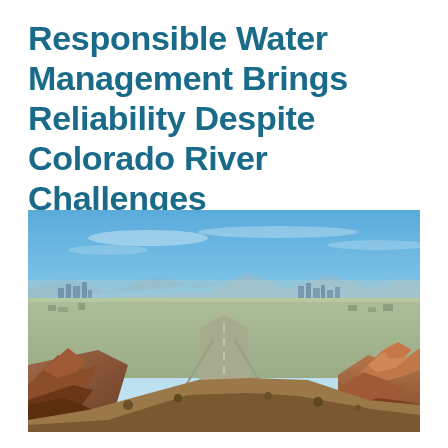Responsible Water Management Brings Reliability Despite Colorado River Challenges
[Figure (photo): Aerial panoramic view of a large southwestern US city (Phoenix, Arizona area) with a highway leading into the urban core, red rock formations in the foreground right, mountains in the background, and a blue sky with light clouds.]